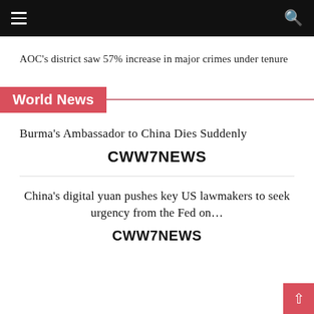CWW7NEWS navigation bar
AOC’s district saw 57% increase in major crimes under tenure
World News
Burma’s Ambassador to China Dies Suddenly
CWW7NEWS
China’s digital yuan pushes key US lawmakers to seek urgency from the Fed on…
CWW7NEWS